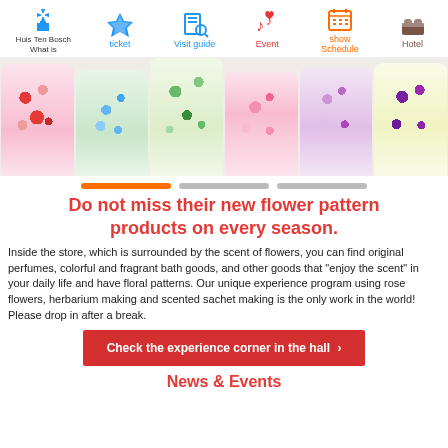Huis Ten Bosch What is | ticket | Visit guide | Event | show Schedule | Hotel
[Figure (photo): Row of six floral-patterned cylindrical product cans/bottles arranged side by side against a light background. Patterns include roses, forget-me-nots, green botanicals, pink florals, lavender, and purple flowers.]
Do not miss their new flower pattern products on every season.
Inside the store, which is surrounded by the scent of flowers, you can find original perfumes, colorful and fragrant bath goods, and other goods that "enjoy the scent" in your daily life and have floral patterns. Our unique experience program using rose flowers, herbarium making and scented sachet making is the only work in the world! Please drop in after a break.
Check the experience corner in the hall >
News & Events